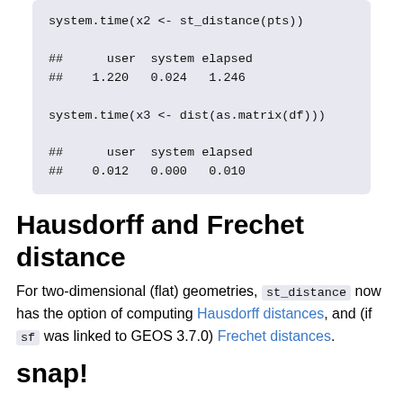system.time(x2 <- st_distance(pts))

##      user  system elapsed
##    1.220   0.024   1.246

system.time(x3 <- dist(as.matrix(df)))

##      user  system elapsed
##    0.012   0.000   0.010
Hausdorff and Frechet distance
For two-dimensional (flat) geometries, st_distance now has the option of computing Hausdorff distances, and (if sf was linked to GEOS 3.7.0) Frechet distances.
snap!